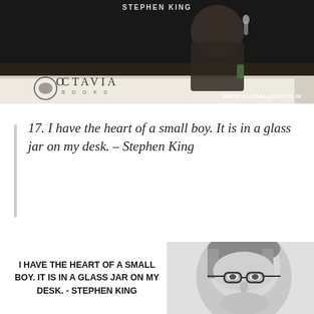[Figure (photo): Photo of Stephen King at Octavia Books event, sitting at a table holding a microphone, dark background]
17. I have the heart of a small boy. It is in a glass jar on my desk. – Stephen King
[Figure (photo): Black and white close-up photo of Stephen King wearing glasses]
I HAVE THE HEART OF A SMALL BOY. IT IS IN A GLASS JAR ON MY DESK. - STEPHEN KING